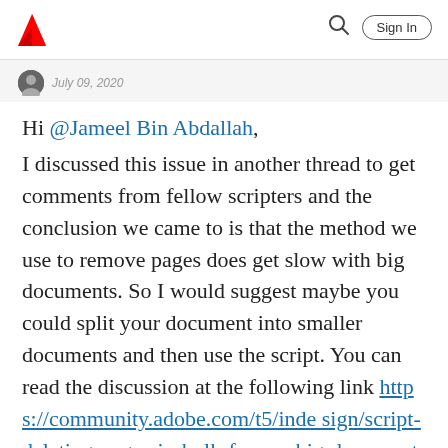Adobe community header with logo, search icon, and Sign In button
July 09, 2020 (partial, truncated)
Hi @Jameel Bin Abdallah, I discussed this issue in another thread to get comments from fellow scripters and the conclusion we came to is that the method we use to remove pages does get slow with big documents. So I would suggest maybe you could split your document into smaller documents and then use the script. You can read the discussion at the following link https://community.adobe.com/t5/indesign/script-deleting-pages-in-bulk-from-a-big-document-painfully-…